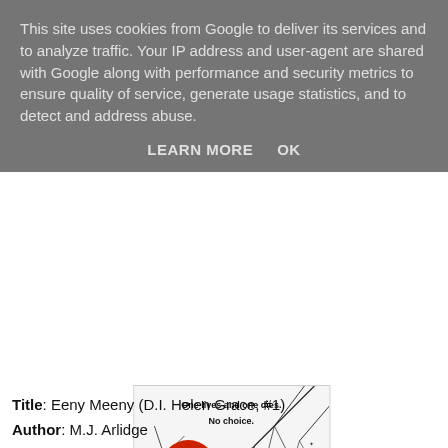This site uses cookies from Google to deliver its services and to analyze traffic. Your IP address and user-agent are shared with Google along with performance and security metrics to ensure quality of service, generate usage statistics, and to detect and address abuse.
LEARN MORE   OK
[Figure (photo): Book cover of Eeny Meeny by M.J. Arlidge showing bare winter tree branches with text 'One lives and one dies. No choice.' and a red circle badge reading 'Chills to the bone' DAILY MAIL]
Title: Eeny Meeny (D.I. Helen Grace, #1)
Author: M.J. Arlidge
Publisher: Penguin
Publication Date: 8th May 2014
Pages: 448
ISBN: 9781405914871
Source: Won
Rating: 4/5
Purchase: Amazon